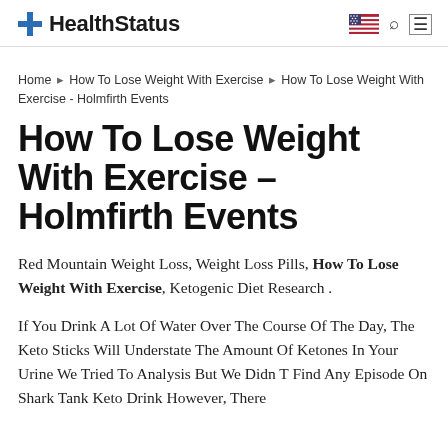HealthStatus
Home ▸ How To Lose Weight With Exercise ▸ How To Lose Weight With Exercise - Holmfirth Events
How To Lose Weight With Exercise – Holmfirth Events
Red Mountain Weight Loss, Weight Loss Pills, How To Lose Weight With Exercise, Ketogenic Diet Research .
If You Drink A Lot Of Water Over The Course Of The Day, The Keto Sticks Will Understate The Amount Of Ketones In Your Urine We Tried To Analysis But We Didn T Find Any Episode On Shark Tank Keto Drink However, There